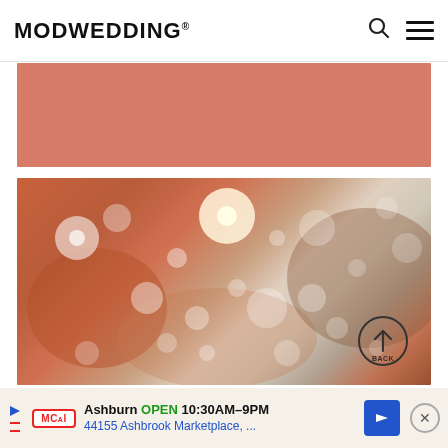MODWEDDING®
[Figure (photo): Solid salmon/coral pink colored rectangle, serving as a background or color swatch image]
[Figure (photo): Blurred bokeh photograph with warm orange-pink tones and white circular light reflections, resembling glittering decoration or crystals. A circular 'BACK' button with an upward arrow is overlaid at the bottom right.]
Ashburn OPEN 10:30AM–9PM 44155 Ashbrook Marketplace, ...